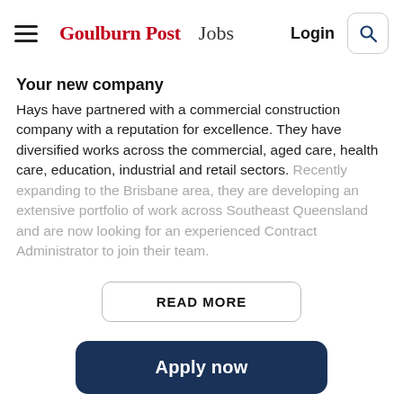Goulburn Post Jobs  Login
Your new company
Hays have partnered with a commercial construction company with a reputation for excellence. They have diversified works across the commercial, aged care, health care, education, industrial and retail sectors. Recently expanding to the Brisbane area, they are developing an extensive portfolio of work across Southeast Queensland and are now looking for an experienced Contract Administrator to join their team.
READ MORE
Skills
Apply now